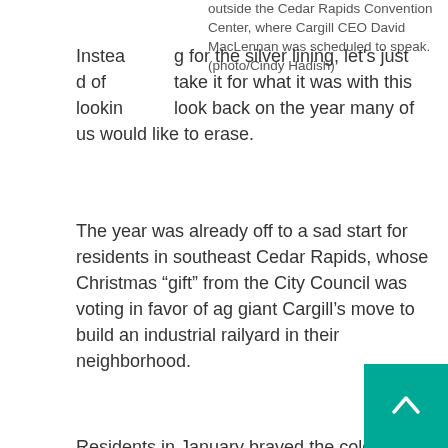outside the Cedar Rapids Convention Center, where Cargill CEO David MacLennan was scheduled to speak. (photo/Cindy Hadish)
Instead of looking for the silver lining, let's just take it for what it was with this look back on the year many of us would like to erase.
The year was already off to a sad start for residents in southeast Cedar Rapids, whose Christmas "gift" from the City Council was voting in favor of ag giant Cargill's move to build an industrial railyard in their neighborhood.
Residents in January braved the cold to demonstrate against the chairman and CEO of Cargill speaking to the Cedar Rapids Metro Economic Alliance Annual Meeting, where more than 1,000 people were expected to attend.